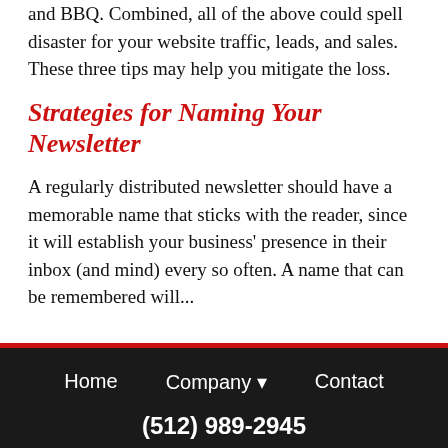and BBQ. Combined, all of the above could spell disaster for your website traffic, leads, and sales. These three tips may help you mitigate the loss.
Strategies for Naming Your Newsletter
A regularly distributed newsletter should have a memorable name that sticks with the reader, since it will establish your business' presence in their inbox (and mind) every so often. A name that can be remembered will...
Home   Company ▼   Contact
(512) 989-2945
Copyright © 2022 Volacci® Corporation. All rights reserved
Volacci®, the Volacci triangle logo and Drupal Marketing Intelligence are trademarks of Volacci® Corporation. Important Volacci Policies: Terms of Service | Privacy | Safe Harbor | Anti-Spam | Sitemap